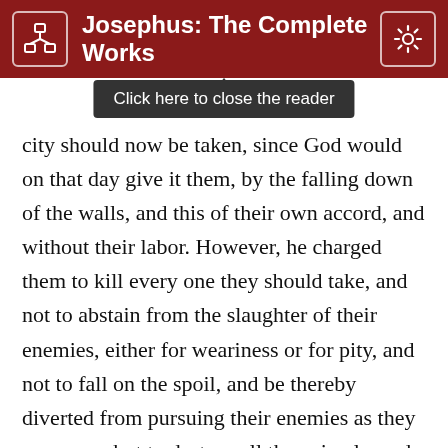Josephus: The Complete Works
[Figure (screenshot): Tooltip overlay reading 'Click here to close the reader' with a dark background, appearing below the header bar]
city should now be taken, since God would on that day give it them, by the falling down of the walls, and this of their own accord, and without their labor. However, he charged them to kill every one they should take, and not to abstain from the slaughter of their enemies, either for weariness or for pity, and not to fall on the spoil, and be thereby diverted from pursuing their enemies as they ran away; but to destroy all the animals, and to take nothing for their own peculiar advantage. He commanded them also to bring together all the silver and gold, that it might be set apart as first-